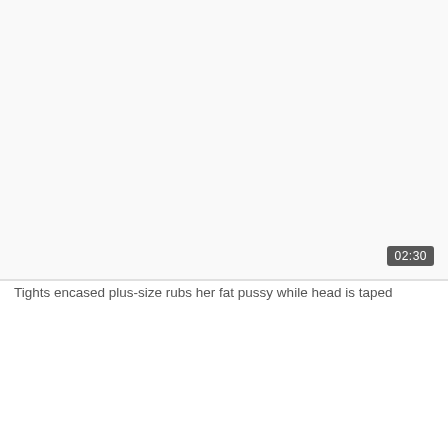[Figure (screenshot): Video thumbnail placeholder — light gray rectangle with a duration badge showing 02:30 in the bottom-right corner]
Tights encased plus-size rubs her fat pussy while head is taped